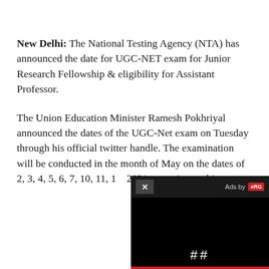New Delhi: The National Testing Agency (NTA) has announced the date for UGC-NET exam for Junior Research Fellowship & eligibility for Assistant Professor.
The Union Education Minister Ramesh Pokhriyal announced the dates of the UGC-Net exam on Tuesday through his official twitter handle. The examination will be conducted in the month of May on the dates of 2, 3, 4, 5, 6, 7, 10, 11, 1[...] 2021 on various subjects.
[Figure (screenshot): Ad overlay in bottom-right corner showing a black video player with 'X' close button, 'Ads by ERG' label in top bar, and a pause (II) button, with a red bar at the bottom.]